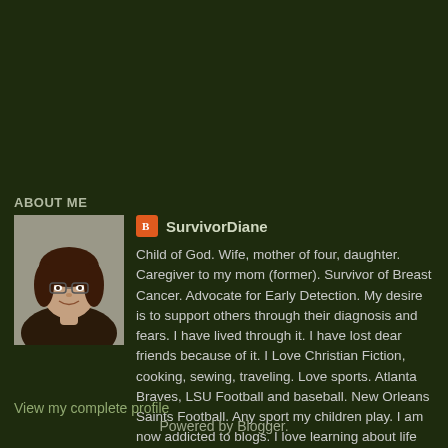ABOUT ME
[Figure (photo): Profile photo of SurvivorDiane, a woman with brown hair and glasses, smiling]
SurvivorDiane
Child of God. Wife, mother of four, daughter. Caregiver to my mom (former). Survivor of Breast Cancer. Advocate for Early Detection. My desire is to support others through their diagnosis and fears. I have lived through it. I have lost dear friends because of it. I Love Christian Fiction, cooking, sewing, traveling. Love sports. Atlanta Braves, LSU Football and baseball. New Orleans Saints Football. Any sport my children play. I am now addicted to blogs. I love learning about life outside of my comfort zone.
View my complete profile
Powered by Blogger.